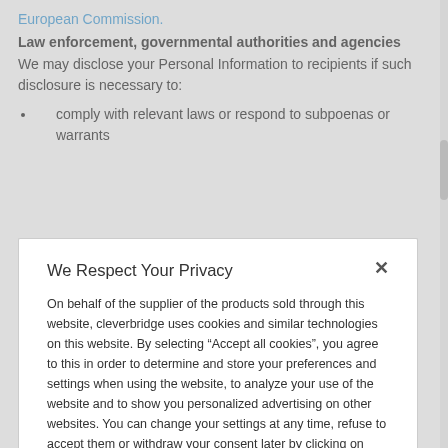European Commission.
Law enforcement, governmental authorities and agencies
We may disclose your Personal Information to recipients if such disclosure is necessary to:
comply with relevant laws or respond to subpoenas or warrants
We Respect Your Privacy
On behalf of the supplier of the products sold through this website, cleverbridge uses cookies and similar technologies on this website. By selecting “Accept all cookies”, you agree to this in order to determine and store your preferences and settings when using the website, to analyze your use of the website and to show you personalized advertising on other websites. You can change your settings at any time, refuse to accept them or withdraw your consent later by clicking on “Cookie Settings”.
Accept All Cookies
Cookie Settings